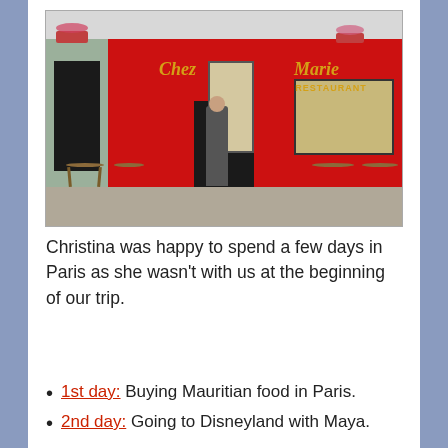[Figure (photo): A woman stands in front of Chez Marie Restaurant, a bright red-fronted French restaurant with outdoor wooden tables and chairs. The restaurant sign reads 'Chez Marie RESTAURANT' in gold lettering on a red background. Flower boxes and hanging plants decorate the facade.]
Christina was happy to spend a few days in Paris as she wasn't with us at the beginning of our trip.
1st day: Buying Mauritian food in Paris.
2nd day: Going to Disneyland with Maya.